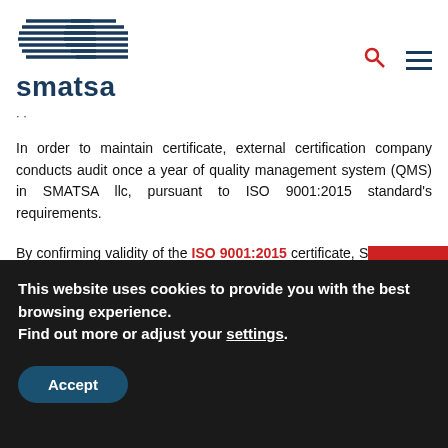[Figure (logo): SMATSA company logo with blue striped graphic and bold blue text 'smatsa']
In order to maintain certificate, external certification company conducts audit once a year of quality management system (QMS) in SMATSA llc, pursuant to ISO 9001:2015 standard's requirements.
By confirming validity of the ISO 9001:2015 certificate, SMATSA llc clearly demonstrates its determination to constantly upgrade its operating processes as well as to fully meet users requirements.
This website uses cookies to provide you with the best browsing experience.
Find out more or adjust your settings.
Accept